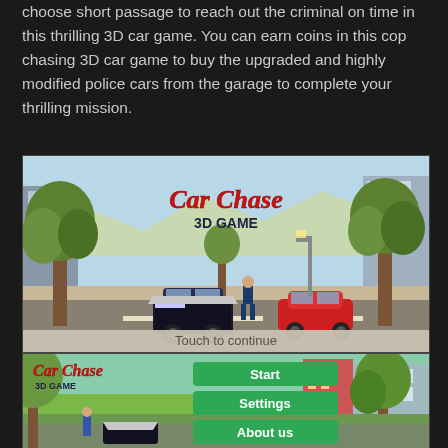choose short passage to reach out the criminal on time in this thrilling 3D car game. You can earn coins in this cop chasing 3D car game to buy the upgraded and highly modified police cars from the garage to complete your thrilling mission.
[Figure (screenshot): Car Chase 3D Game app screenshot showing a city street scene with a police car and a red sports car, text 'Car Chase 3D GAME' and 'Touch to continue']
[Figure (screenshot): Car Chase 3D Game main menu screenshot with 'Car Chase 3D GAME' logo and three green buttons: Start, Settings, About us, with city background]